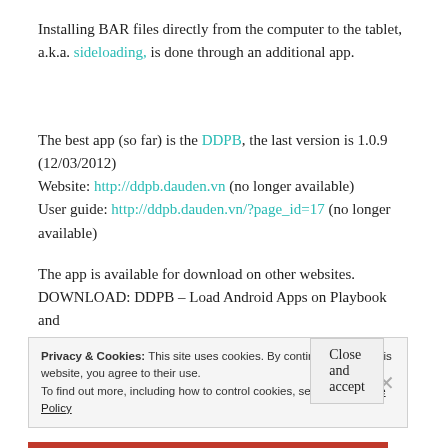Installing BAR files directly from the computer to the tablet, a.k.a. sideloading, is done through an additional app.
The best app (so far) is the DDPB, the last version is 1.0.9 (12/03/2012)
Website: http://ddpb.dauden.vn (no longer available)
User guide: http://ddpb.dauden.vn/?page_id=17 (no longer available)
The app is available for download on other websites.
DOWNLOAD: DDPB – Load Android Apps on Playbook and
Privacy & Cookies: This site uses cookies. By continuing to use this website, you agree to their use.
To find out more, including how to control cookies, see here: Cookie Policy
Close and accept